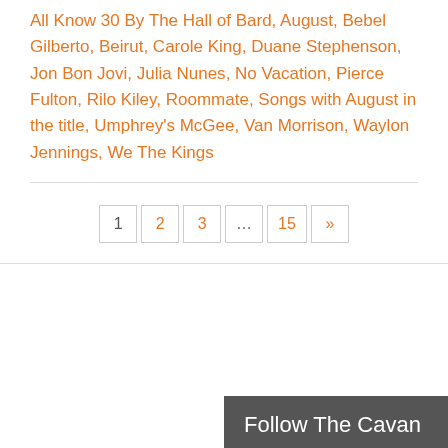All Know 30 By The Hall of Bard, August, Bebel Gilberto, Beirut, Carole King, Duane Stephenson, Jon Bon Jovi, Julia Nunes, No Vacation, Pierce Fulton, Rilo Kiley, Roommate, Songs with August in the title, Umphrey's McGee, Van Morrison, Waylon Jennings, We The Kings
Pagination: 1, 2, 3, ..., 15, »
Follow
Follow The Cavan